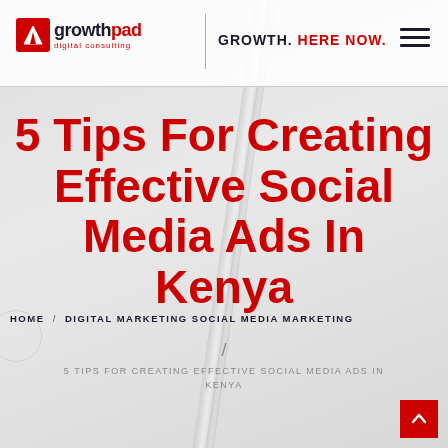growthpad digital consulting | GROWTH. HERE NOW.
5 Tips For Creating Effective Social Media Ads In Kenya
HOME / DIGITAL MARKETING SOCIAL MEDIA MARKETING
/ 5 TIPS FOR CREATING EFFECTIVE SOCIAL MEDIA ADS IN KENYA